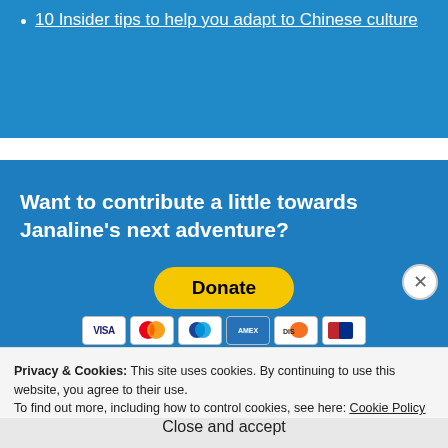10 Insider tips to help you adapt to Chinese culture
Want to contribute a little towards Janaline’s next adventure?
[Figure (infographic): PayPal Donate button with payment card icons (Visa, Mastercard, PayPal, Amex, Discover, UnionPay)]
Privacy & Cookies: This site uses cookies. By continuing to use this website, you agree to their use.
To find out more, including how to control cookies, see here: Cookie Policy
Close and accept